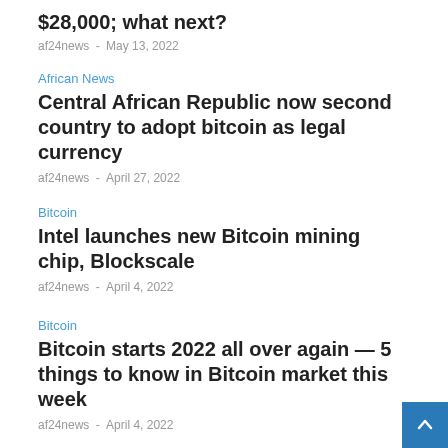$28,000; what next?
af24news – May 13, 2022
African News
Central African Republic now second country to adopt bitcoin as legal currency
af24news – April 27, 2022
Bitcoin
Intel launches new Bitcoin mining chip, Blockscale
af24news – April 4, 2022
Bitcoin
Bitcoin starts 2022 all over again — 5 things to know in Bitcoin market this week
af24news – April 4, 2022
Bitcoin
Russia considering selling its oil and